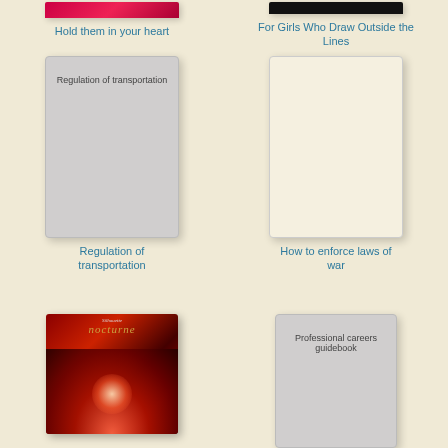[Figure (illustration): Partial book cover cut off at top, pink/red color on left]
Hold them in your heart
[Figure (illustration): Partial book cover cut off at top, dark/black color on right]
For Girls Who Draw Outside the Lines
[Figure (illustration): Book cover placeholder gray with text: Regulation of transportation]
Regulation of transportation
[Figure (illustration): Book cover placeholder cream/blank]
How to enforce laws of war
[Figure (photo): Silhouette Nocturne book cover with red dramatic background and figure, titled nocturne]
[Figure (illustration): Book cover placeholder gray with text: Professional careers guidebook]